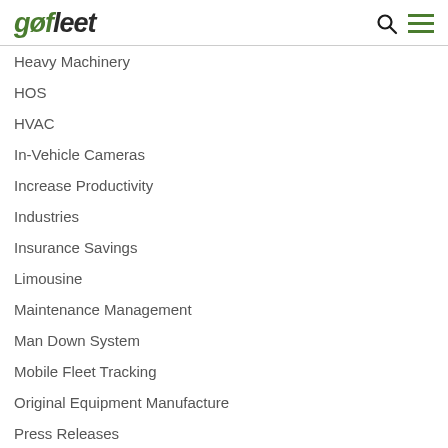gofleet
Heavy Machinery
HOS
HVAC
In-Vehicle Cameras
Increase Productivity
Industries
Insurance Savings
Limousine
Maintenance Management
Man Down System
Mobile Fleet Tracking
Original Equipment Manufacture
Press Releases